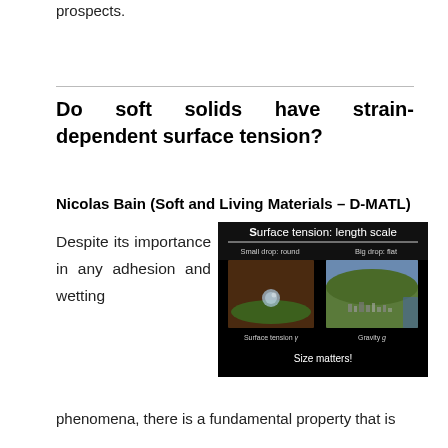current limitations of the technology and future prospects.
Do soft solids have strain-dependent surface tension?
Nicolas Bain (Soft and Living Materials – D-MATL)
Despite its importance in any adhesion and wetting
[Figure (screenshot): Slide showing 'Surface tension: length scale'. Left panel: Small drop: round, with image of a water droplet on a leaf surface, labeled 'Surface tension γ'. Right panel: Big drop: flat, with aerial photograph of a city/landscape, labeled 'Gravity g'. Caption at bottom: 'Size matters!']
phenomena, there is a fundamental property that is